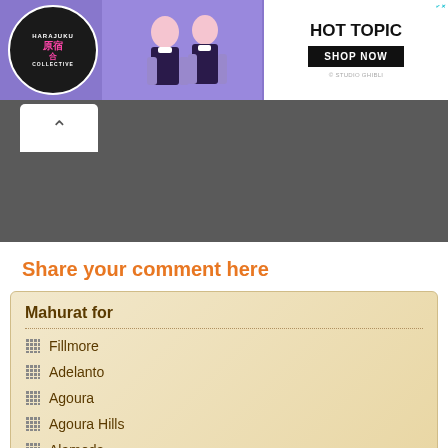[Figure (screenshot): Harajuku Collective / Hot Topic advertisement banner with purple background, two figures in anime-style outfits, and Hot Topic logo with Shop Now button]
[Figure (screenshot): Navigation back button (chevron up) on grey background]
Share your comment here
Mahurat for
Fillmore
Adelanto
Agoura
Agoura Hills
Alameda
Albany
Alhambra